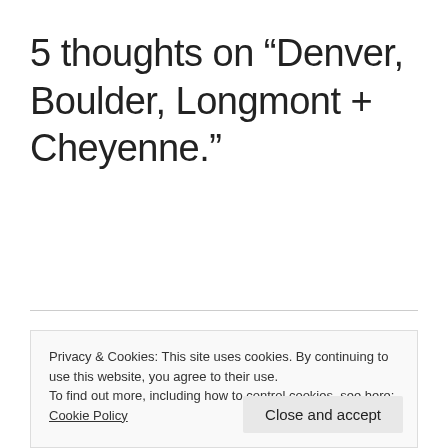5 thoughts on “Denver, Boulder, Longmont + Cheyenne.”
LivingTheQLife
Privacy & Cookies: This site uses cookies. By continuing to use this website, you agree to their use.
To find out more, including how to control cookies, see here: Cookie Policy
Close and accept
trip.